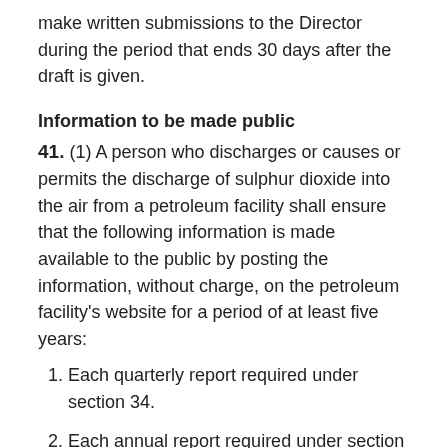make written submissions to the Director during the period that ends 30 days after the draft is given.
Information to be made public
41. (1) A person who discharges or causes or permits the discharge of sulphur dioxide into the air from a petroleum facility shall ensure that the following information is made available to the public by posting the information, without charge, on the petroleum facility's website for a period of at least five years:
Each quarterly report required under section 34.
Each annual report required under section